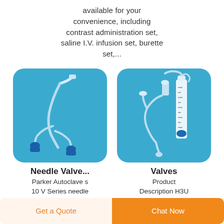available for your convenience, including contrast administration set, saline I.V. infusion set, burette set,...
[Figure (photo): Photo of a medical IV infusion set with blue connectors on a blue rounded square background]
[Figure (photo): Photo of a burette IV infusion set with tubing and drip chamber on a blue rounded square background]
Needle Valve...
Parker Autoclave s 10 V Series needle valves are a non rotating rising
Valves
Product Description H3U Series SS Needle Valve 1/4 Male
Get a Quote   Chat Now